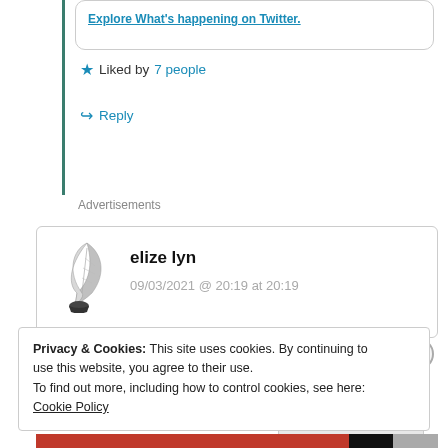Explore What's happening on Twitter.
★ Liked by 7 people
↪ Reply
Advertisements
elize lyn
09/03/2021 @ 20:19 at 20:19
Privacy & Cookies: This site uses cookies. By continuing to use this website, you agree to their use.
To find out more, including how to control cookies, see here: Cookie Policy
Close and accept